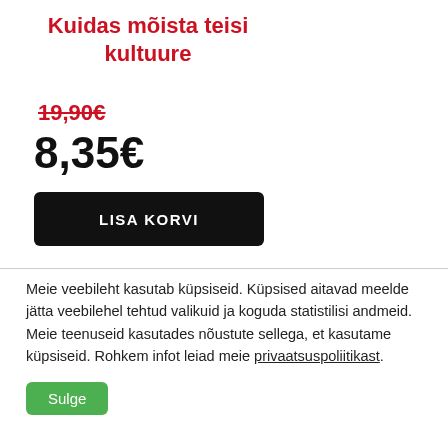Kuidas mõista teisi kultuure
19,90€
8,35€
LISA KORVI
Meie veebileht kasutab küpsiseid. Küpsised aitavad meelde jätta veebilehel tehtud valikuid ja koguda statistilisi andmeid. Meie teenuseid kasutades nõustute sellega, et kasutame küpsiseid. Rohkem infot leiad meie privaatsuspoliitikast.
Sulge